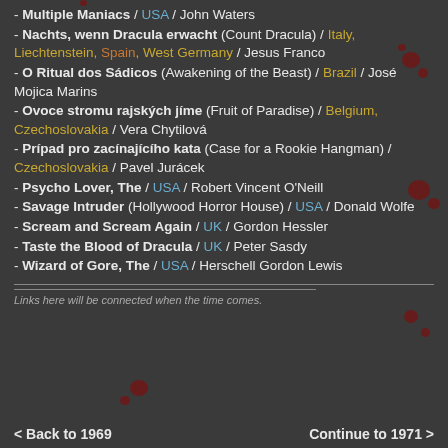- Multiple Maniacs / USA / John Waters
- Nachts, wenn Dracula erwacht (Count Dracula) / Italy, Liechtenstein, Spain, West Germany / Jesus Franco
- O Ritual dos Sádicos (Awakening of the Beast) / Brazil / José Mojica Marins
- Ovoce stromu rajských jíme (Fruit of Paradise) / Belgium, Czechoslovakia / Vera Chytilová
- Prípad pro zacínajícího kata (Case for a Rookie Hangman) / Czechoslovakia / Pavel Jurácek
- Psycho Lover, The / USA / Robert Vincent O'Neill
- Savage Intruder (Hollywood Horror House) / USA / Donald Wolfe
- Scream and Scream Again / UK / Gordon Hessler
- Taste the Blood of Dracula / UK / Peter Sasdy
- Wizard of Gore, The / USA / Herschell Gordon Lewis
Links here will be connected when the time comes.
< Back to 1969   Continue to 1971 >